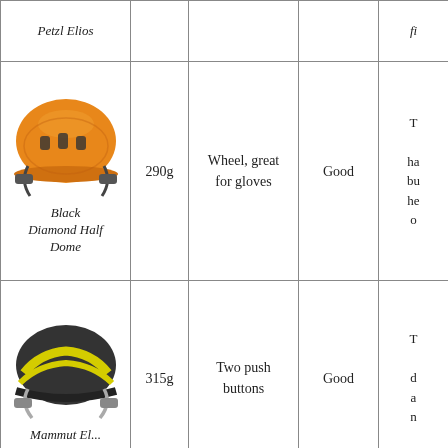| Helmet | Weight | Adjustment | Ventilation | Notes |
| --- | --- | --- | --- | --- |
| Petzl Elios |  |  |  | fi... |
| Black Diamond Half Dome | 290g | Wheel, great for gloves | Good | T... ha... bu... he... o... |
| Mammut El... | 315g | Two push buttons | Good | T... d... a... n... |